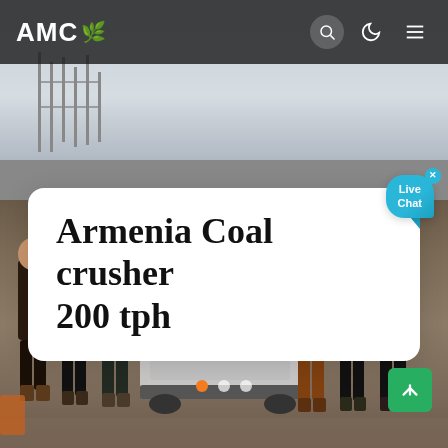[Figure (screenshot): Website screenshot showing AMC logo in dark navbar with search, moon, and hamburger icons. Background shows a photo of workers standing around a coal crusher machine on a dusty construction site. A white rounded card displays the title 'Armenia Coal crusher 200 tph'. A live chat bubble is visible top-right of the card. Pagination dots and a green scroll-up button appear at the bottom.]
Armenia Coal crusher 200 tph